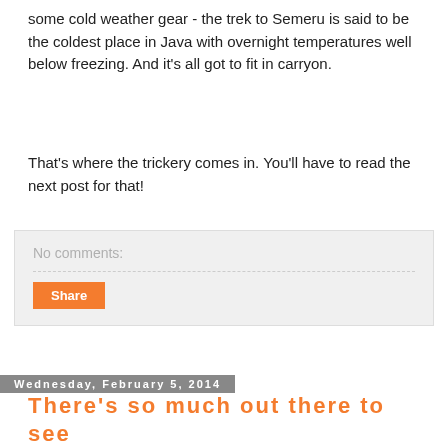some cold weather gear - the trek to Semeru is said to be the coldest place in Java with overnight temperatures well below freezing. And it's all got to fit in carryon.
That's where the trickery comes in. You'll have to read the next post for that!
No comments:
Share
Wednesday, February 5, 2014
There's so much out there to see
Take Java. Said to be the most crowded real estate on the planet, and also the most geologically active island in the world just in the sheer number of lava belching volcanos. Ring of fire indeed.
On the road...